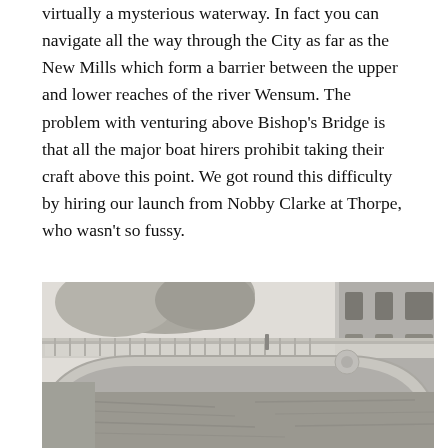virtually a mysterious waterway. In fact you can navigate all the way through the City as far as the New Mills which form a barrier between the upper and lower reaches of the river Wensum. The problem with venturing above Bishop's Bridge is that all the major boat hirers prohibit taking their craft above this point. We got round this difficulty by hiring our launch from Nobby Clarke at Thorpe, who wasn't so fussy.
[Figure (photo): Black and white photograph of a bridge over a river (Bishop's Bridge, Norwich), with a large stone building visible on the right side and trees on the left. The river reflects the bridge and building beneath.]